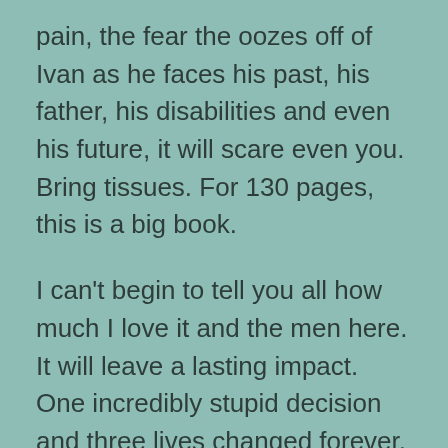pain, the fear the oozes off of Ivan as he faces his past, his father, his disabilities and even his future, it will scare even you.  Bring tissues.  For 130 pages, this is a big book.
I can't begin to tell you all how much I love it and the men here.  It will leave a lasting impact.  One incredibly stupid decision and three lives changed forever.  Now we how the aftermath turns out and lives change again.
I highly recommend this story. The writing is incredible, the descriptions vivid and carry such emotional heft, and the characters so real